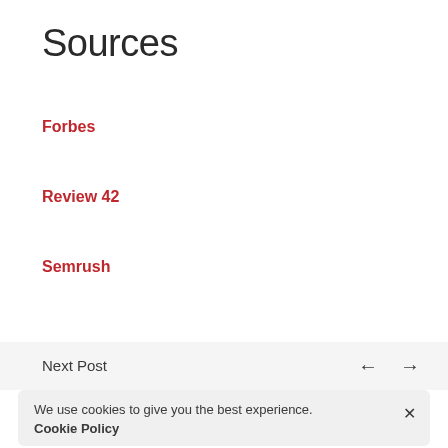Sources
Forbes
Review 42
Semrush
Next Post ← →
We use cookies to give you the best experience. Cookie Policy